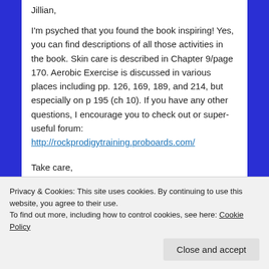Jillian,
I'm psyched that you found the book inspiring! Yes, you can find descriptions of all those activities in the book. Skin care is described in Chapter 9/page 170. Aerobic Exercise is discussed in various places including pp. 126, 169, 189, and 214, but especially on p 195 (ch 10). If you have any other questions, I encourage you to check out or super-useful forum:
http://rockprodigytraining.proboards.com/
Take care,
Mark
Privacy & Cookies: This site uses cookies. By continuing to use this website, you agree to their use.
To find out more, including how to control cookies, see here: Cookie Policy